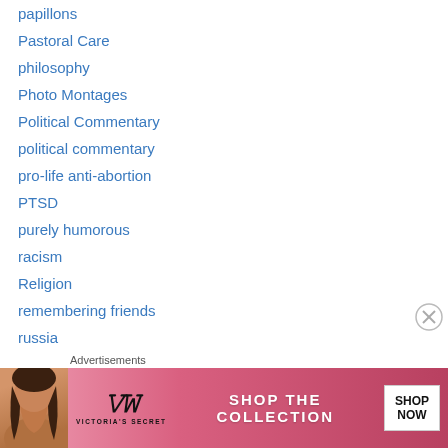papillons
Pastoral Care
philosophy
Photo Montages
Political Commentary
political commentary
pro-life anti-abortion
PTSD
purely humorous
racism
Religion
remembering friends
russia
satire
School stories
shipmates and veterans
slavery
[Figure (illustration): Victoria's Secret advertisement banner with model, VS logo, 'SHOP THE COLLECTION' text, and 'SHOP NOW' button on pink background]